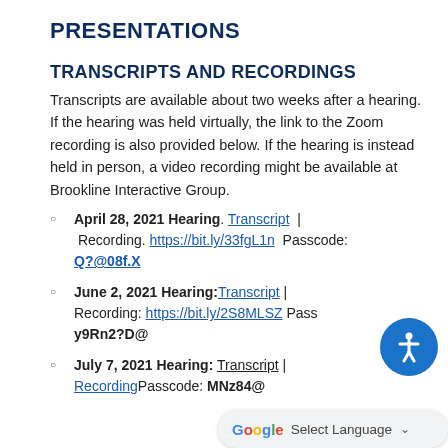PRESENTATIONS
TRANSCRIPTS AND RECORDINGS
Transcripts are available about two weeks after a hearing. If the hearing was held virtually, the link to the Zoom recording is also provided below. If the hearing is instead held in person, a video recording might be available at Brookline Interactive Group.
April 28, 2021 Hearing. Transcript | Recording. https://bit.ly/33fgL1n Passcode: Q?@08f.X
June 2, 2021 Hearing: Transcript | Recording: https://bit.ly/2S8MLSZ Passcode: y9Rn2?D@
July 7, 2021 Hearing: Transcript | Recording Passcode: MNz84@...